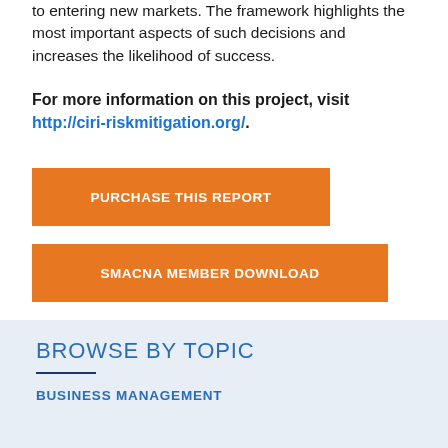to entering new markets. The framework highlights the most important aspects of such decisions and increases the likelihood of success.
For more information on this project, visit http://ciri-riskmitigation.org/.
[Figure (other): Orange button labeled PURCHASE THIS REPORT]
[Figure (other): Orange button labeled SMACNA MEMBER DOWNLOAD]
BROWSE BY TOPIC
BUSINESS MANAGEMENT